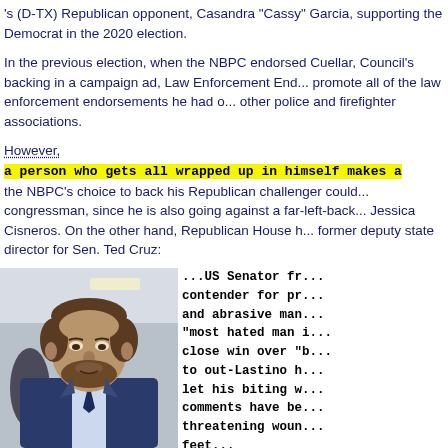's (D-TX) Republican opponent, Casandra "Cassy" Garcia, supporting the Democrat in the 2020 election.
In the previous election, when the NBPC endorsed Cuellar, Council's backing in a campaign ad, Law Enforcement End... promote all of the law enforcement endorsements he had o... other police and firefighter associations.
However, a person who gets all wrapped up in himself makes a ... the NBPC's choice to back his Republican challenger could... congressman, since he is also going against a far-left-back... Jessica Cisneros. On the other hand, Republican House h... former deputy state director for Sen. Ted Cruz:
[Figure (photo): Photo of a man in a blue suit with a beard, appearing to be a public figure, photographed indoors.]
...US Senator fr... contender for pr... and abrasive man... "most hated man i... close win over "b... to out-Lastino h... let his biting w... comments have be... threatening woun... feet... (R-TX) and a pres...